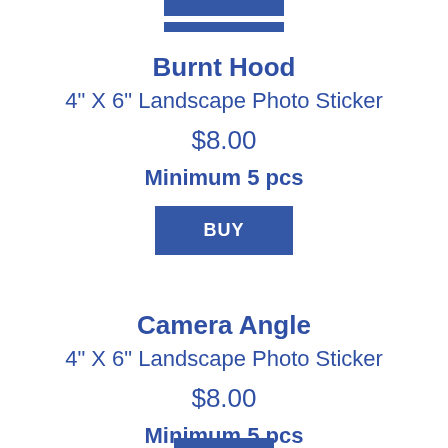Burnt Hood
4" X 6" Landscape Photo Sticker
$8.00
Minimum 5 pcs
BUY
Camera Angle
4" X 6" Landscape Photo Sticker
$8.00
Minimum 5 pcs